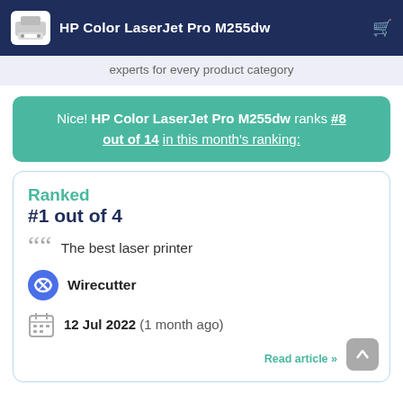HP Color LaserJet Pro M255dw
experts for every product category
Nice! HP Color LaserJet Pro M255dw ranks #8 out of 14 in this month's ranking:
Ranked #1 out of 4
The best laser printer
Wirecutter
12 Jul 2022 (1 month ago)
Read article »